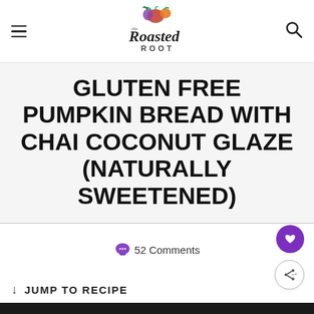The Roasted Root
GLUTEN FREE PUMPKIN BREAD WITH CHAI COCONUT GLAZE (NATURALLY SWEETENED)
52 Comments
JUMP TO RECIPE